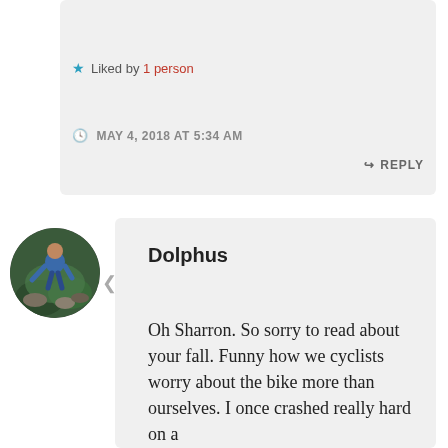Liked by 1 person
MAY 4, 2018 AT 5:34 AM
REPLY
[Figure (photo): Circular avatar photo of a person (Dolphus) outdoors, wearing blue, among rocks and foliage.]
Dolphus
Oh Sharron. So sorry to read about your fall. Funny how we cyclists worry about the bike more than ourselves. I once crashed really hard on a